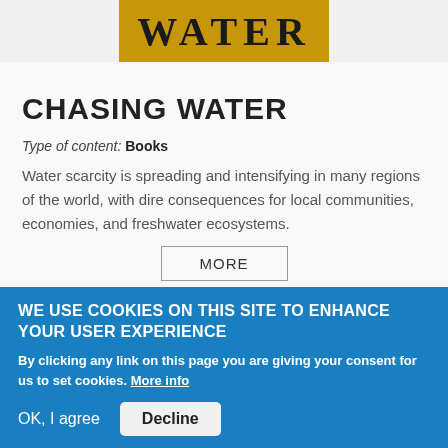[Figure (illustration): Book cover showing the word WATER in large bold serif font on a golden/amber background]
CHASING WATER
Type of content: Books
Water scarcity is spreading and intensifying in many regions of the world, with dire consequences for local communities, economies, and freshwater ecosystems.
MORE
WE USE COOKIES ON THIS SITE TO ENHANCE YOUR USER EXPERIENCE
By clicking any link on this page you are giving your consent for us to set cookies. More info
OK, I agree
Decline